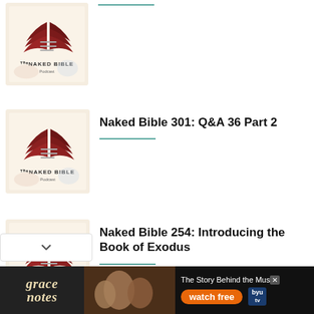[Figure (logo): Naked Bible Podcast logo thumbnail (partial, top)]
Naked Bible 301: Q&A 36 Part 2
[Figure (logo): Naked Bible Podcast logo thumbnail]
Naked Bible 301: Q&A 36 Part 2
[Figure (logo): Naked Bible Podcast logo thumbnail]
Naked Bible 254: Introducing the Book of Exodus
[Figure (screenshot): Grace Notes advertisement banner - The Story Behind the Music, watch free, BYU tv]